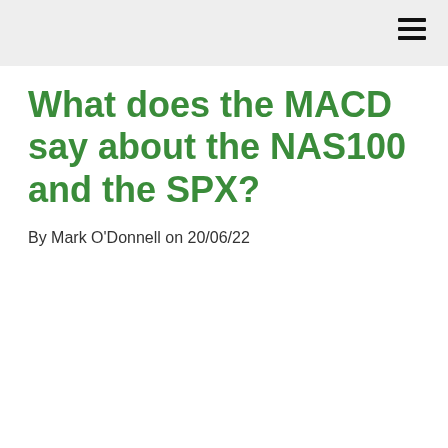What does the MACD say about the NAS100 and the SPX?
By Mark O'Donnell on 20/06/22